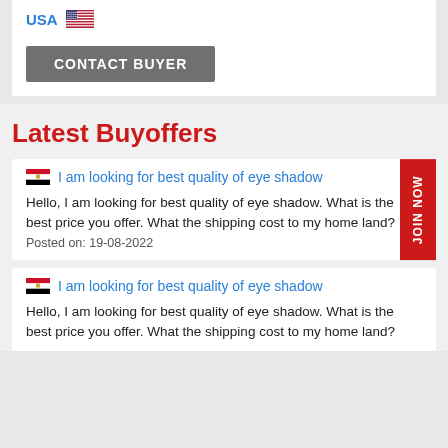USA
CONTACT BUYER
Latest Buyoffers
I am looking for best quality of eye shadow
Hello, I am looking for best quality of eye shadow. What is the best price you offer. What the shipping cost to my home land?
Posted on: 19-08-2022
I am looking for best quality of eye shadow
Hello, I am looking for best quality of eye shadow. What is the best price you offer. What the shipping cost to my home land?